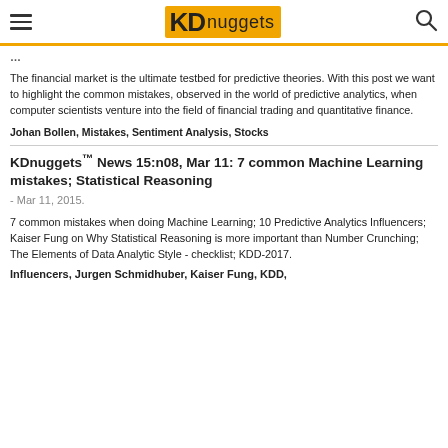KDnuggets
The financial market is the ultimate testbed for predictive theories. With this post we want to highlight the common mistakes, observed in the world of predictive analytics, when computer scientists venture into the field of financial trading and quantitative finance.
Johan Bollen, Mistakes, Sentiment Analysis, Stocks
KDnuggets™ News 15:n08, Mar 11: 7 common Machine Learning mistakes; Statistical Reasoning - Mar 11, 2015.
7 common mistakes when doing Machine Learning; 10 Predictive Analytics Influencers; Kaiser Fung on Why Statistical Reasoning is more important than Number Crunching; The Elements of Data Analytic Style - checklist; KDD-2017.
Influencers, Jurgen Schmidhuber, Kaiser Fung, KDD,